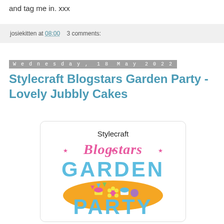and tag me in. xxx
josiekitten at 08:00   3 comments:
Wednesday, 18 May 2022
Stylecraft Blogstars Garden Party - Lovely Jubbly Cakes
[Figure (logo): Stylecraft Blogstars Garden Party logo with pink cursive Blogstars text, large blue GARDEN PARTY text, orange semicircle with illustrated cakes and flowers]